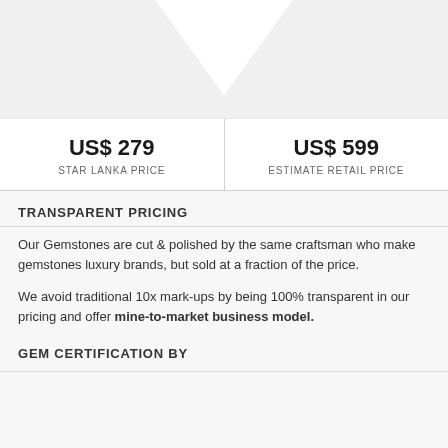[Figure (illustration): Downward chevron or arrow shape in light gray at the top of the page]
US$ 279
STAR LANKA PRICE
US$ 599
ESTIMATE RETAIL PRICE
TRANSPARENT PRICING
Our Gemstones are cut & polished by the same craftsman who make gemstones luxury brands, but sold at a fraction of the price.
We avoid traditional 10x mark-ups by being 100% transparent in our pricing and offer mine-to-market business model.
GEM CERTIFICATION BY